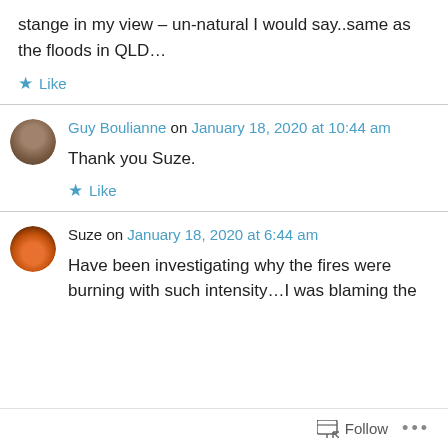stange in my view – un-natural I would say..same as the floods in QLD…
Like
Guy Boulianne on January 18, 2020 at 10:44 am
Thank you Suze.
Like
Suze on January 18, 2020 at 6:44 am
Have been investigating why the fires were burning with such intensity…I was blaming the
Follow